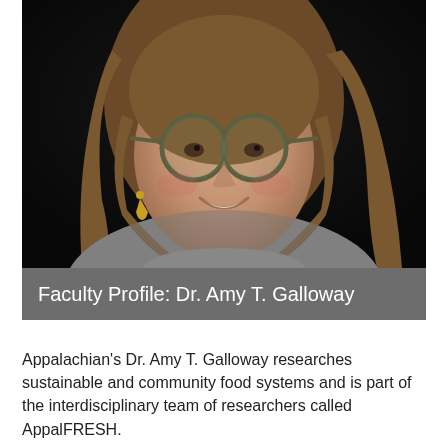[Figure (photo): Headshot portrait of Dr. Amy T. Galloway, a woman with shoulder-length brown hair and round green-framed glasses, wearing gold heart earrings and a dark necklace, smiling warmly against a dark background.]
Faculty Profile: Dr. Amy T. Galloway
Appalachian's Dr. Amy T. Galloway researches sustainable and community food systems and is part of the interdisciplinary team of researchers called AppalFRESH.